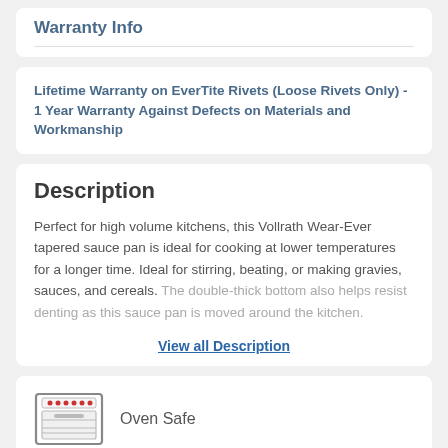Warranty Info
Lifetime Warranty on EverTite Rivets (Loose Rivets Only) - 1 Year Warranty Against Defects on Materials and Workmanship
Description
Perfect for high volume kitchens, this Vollrath Wear-Ever tapered sauce pan is ideal for cooking at lower temperatures for a longer time. Ideal for stirring, beating, or making gravies, sauces, and cereals. The double-thick bottom also helps resist denting as this sauce pan is moved around the kitchen.
View all Description
Oven Safe